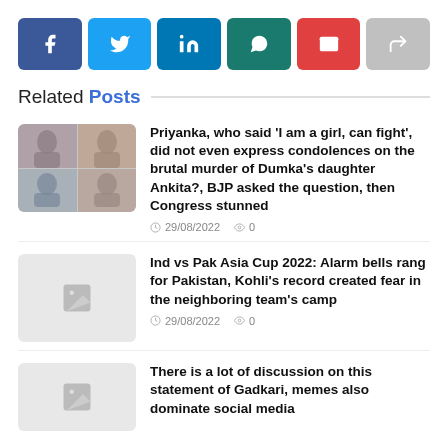[Figure (infographic): Social media share buttons row: Facebook (blue), Twitter (light blue), LinkedIn (dark blue), WhatsApp (teal), Email (red), Share/forward (grey)]
Related Posts
[Figure (photo): Thumbnail image showing Priyanka with collage of people]
Priyanka, who said ‘I am a girl, can fight’, did not even express condolences on the brutal murder of Dumka’s daughter Ankita?, BJP asked the question, then Congress stunned
29/08/2022  0
[Figure (photo): Placeholder thumbnail image]
Ind vs Pak Asia Cup 2022: Alarm bells rang for Pakistan, Kohli’s record created fear in the neighboring team’s camp
29/08/2022  0
[Figure (photo): Placeholder thumbnail image]
There is a lot of discussion on this statement of Gadkari, memes also dominate social media